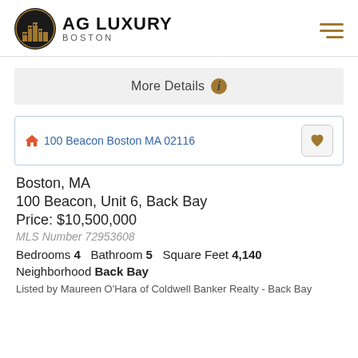[Figure (logo): AG Luxury Boston circular logo with building silhouette in gold/black circle, with text AG LUXURY BOSTON]
More Details ℹ
100 Beacon Boston MA 02116
Boston, MA
100 Beacon, Unit 6, Back Bay
Price: $10,500,000
MLS Number 72953608
Bedrooms 4   Bathroom 5   Square Feet 4,140
Neighborhood Back Bay
Listed by Maureen O'Hara of Coldwell Banker Realty - Back Bay